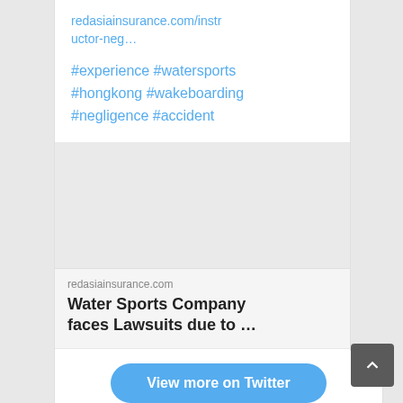redasiainsurance.com/instructor-neg…
#experience #watersports #hongkong #wakeboarding #negligence #accident
[Figure (photo): Placeholder image area with light gray background]
redasiainsurance.com
Water Sports Company faces Lawsuits due to …
View more on Twitter